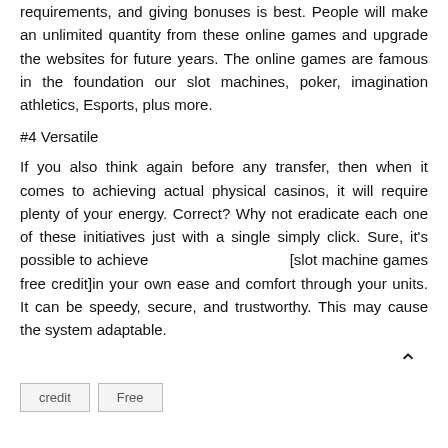requirements, and giving bonuses is best. People will make an unlimited quantity from these online games and upgrade the websites for future years. The online games are famous in the foundation our slot machines, poker, imagination athletics, Esports, plus more.
#4 Versatile
If you also think again before any transfer, then when it comes to achieving actual physical casinos, it will require plenty of your energy. Correct? Why not eradicate each one of these initiatives just with a single simply click. Sure, it's possible to achieve                              [slot machine games free credit]in your own ease and comfort through your units. It can be speedy, secure, and trustworthy. This may cause the system adaptable.
credit
Free